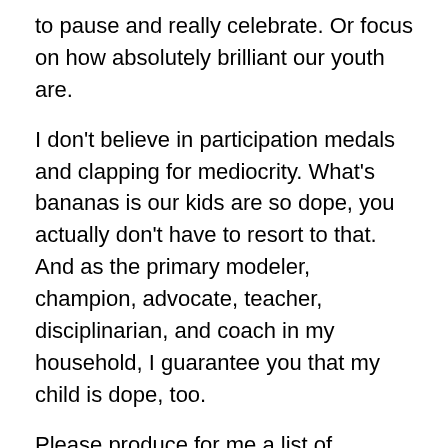to pause and really celebrate. Or focus on how absolutely brilliant our youth are.
I don't believe in participation medals and clapping for mediocrity. What's bananas is our kids are so dope, you actually don't have to resort to that. And as the primary modeler, champion, advocate, teacher, disciplinarian, and coach in my household, I guarantee you that my child is dope, too.
Please produce for me a list of children who have published books in the city of Decatur. The ones who might hold space at the Decatur Book Festival. The ones these people will surely take credit for when it's convenient. Let's celebrate them right now. I've been here since Spring 2017, and just about every board meeting, every email, every CSD admin